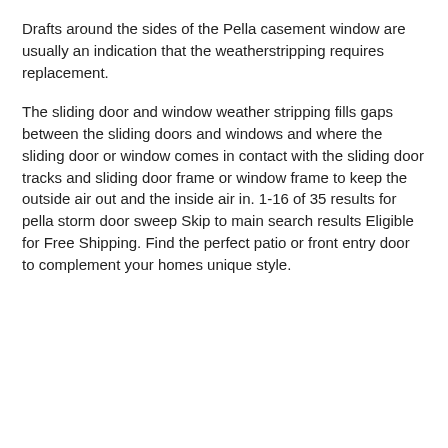Drafts around the sides of the Pella casement window are usually an indication that the weatherstripping requires replacement.
The sliding door and window weather stripping fills gaps between the sliding doors and windows and where the sliding door or window comes in contact with the sliding door tracks and sliding door frame or window frame to keep the outside air out and the inside air in. 1-16 of 35 results for pella storm door sweep Skip to main search results Eligible for Free Shipping. Find the perfect patio or front entry door to complement your homes unique style.